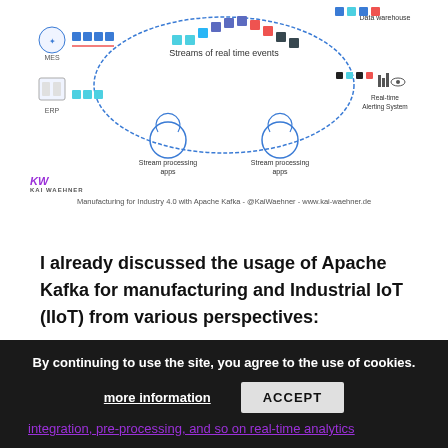[Figure (schematic): Architecture diagram showing Manufacturing for Industry 4.0 with Apache Kafka: streams of real-time events, MES, ERP, stream processing apps, data warehouse, and real-time alerting system components with colored block connectors and icons.]
Manufacturing for Industry 4.0 with Apache Kafka - @KaiWaehner - www.kai-waehner.de
I already discussed the usage of Apache Kafka for manufacturing and Industrial IoT (IIoT) from various perspectives:
Hybrid + global Kafka architectures for factory and cloud deployments
integration, pre-processing, and so on real-time analytics